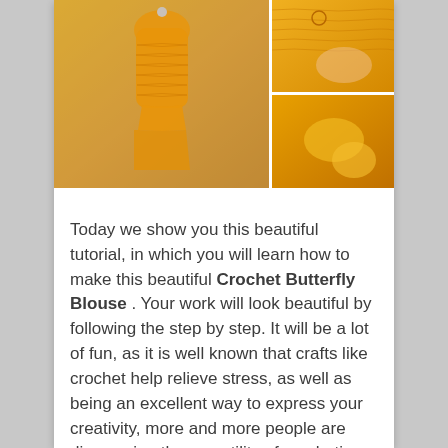[Figure (photo): Composite photo showing a yellow crochet blouse on a mannequin (left, large image) and three smaller step-by-step process photos on the right showing construction details of the crochet butterfly blouse.]
Today we show you this beautiful tutorial, in which you will learn how to make this beautiful Crochet Butterfly Blouse . Your work will look beautiful by following the step by step. It will be a lot of fun, as it is well known that crafts like crochet help relieve stress, as well as being an excellent way to express your creativity, more and more people are discovering the versatility of crocheting. Forget the old-fashioned idea that only grandmothers knit; Today, both beginners and professional textile artists continue to explore the creative